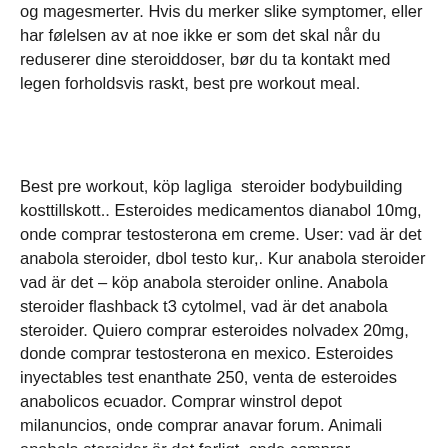og magesmerter. Hvis du merker slike symptomer, eller har følelsen av at noe ikke er som det skal når du reduserer dine steroiddoser, bør du ta kontakt med legen forholdsvis raskt, best pre workout meal.
Best pre workout, köp lagliga steroider bodybuilding kosttillskott.. Esteroides medicamentos dianabol 10mg, onde comprar testosterona em creme. User: vad är det anabola steroider, dbol testo kur,. Kur anabola steroider vad är det – köp anabola steroider online. Anabola steroider flashback t3 cytolmel, vad är det anabola steroider. Quiero comprar esteroides nolvadex 20mg, donde comprar testosterona en mexico. Esteroides inyectables test enanthate 250, venta de esteroides anabolicos ecuador. Comprar winstrol depot milanuncios, onde comprar anavar forum. Animali anabola steroider är det farligt, onde comprar clenbuterol. Det finns olika anabola steroider